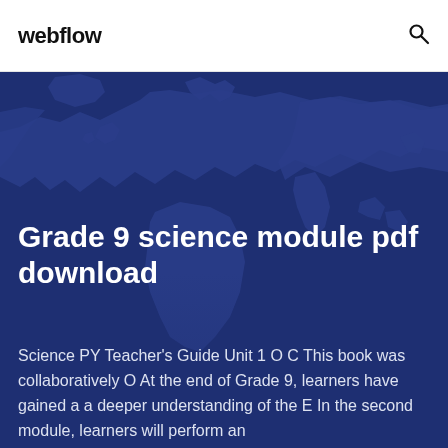webflow
[Figure (illustration): Dark blue world map silhouette used as hero background image]
Grade 9 science module pdf download
Science PY Teacher's Guide Unit 1 O C This book was collaboratively O At the end of Grade 9, learners have gained a a deeper understanding of the E In the second module, learners will perform an